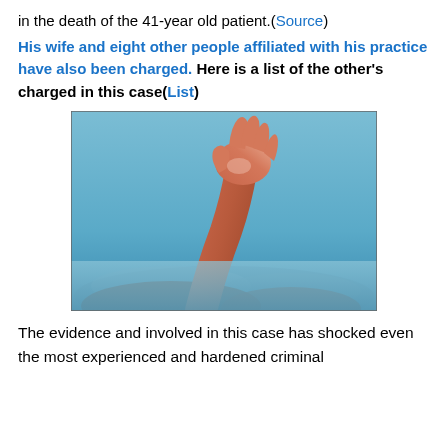in the death of the 41-year old patient.(Source)
His wife and eight other people affiliated with his practice have also been charged. Here is a list of the other's charged in this case(List)
[Figure (photo): A hand and arm reaching upward out of water, appearing to be drowning, with a blue background.]
The evidence and involved in this case has shocked even the most experienced and hardened criminal